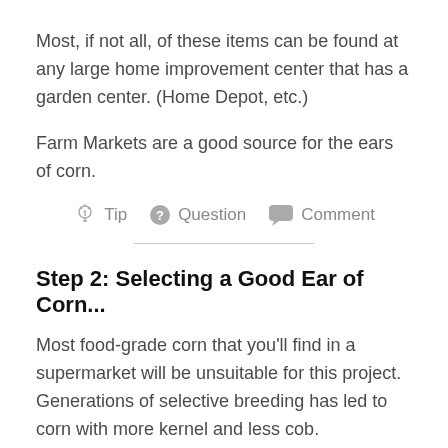Most, if not all, of these items can be found at any large home improvement center that has a garden center. (Home Depot, etc.)
Farm Markets are a good source for the ears of corn.
[Figure (infographic): Row of interactive icons: lightbulb icon labeled Tip, question mark icon labeled Question, speech bubble icon labeled Comment]
Step 2: Selecting a Good Ear of Corn...
Most food-grade corn that you'll find in a supermarket will be unsuitable for this project. Generations of selective breeding has led to corn with more kernel and less cob.
Suitable ears of corn can often be found in farm